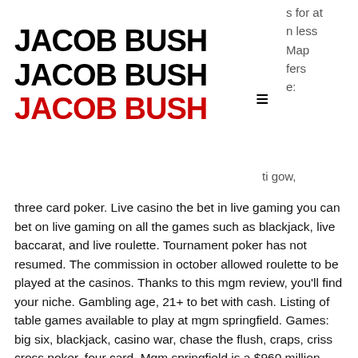JACOB BUSH
JACOB BUSH
JACOB BUSH
s for at
n less
Map
fers
e:
ti gow, three card poker. Live casino the bet in live gaming you can bet on live gaming on all the games such as blackjack, live baccarat, and live roulette. Tournament poker has not resumed. The commission in october allowed roulette to be played at the casinos. Thanks to this mgm review, you'll find your niche. Gambling age, 21+ to bet with cash. Listing of table games available to play at mgm springfield. Games: big six, blackjack, casino war, chase the flush, craps, criss cross poker, four card. Mgm springfield is a $960 million destination resort casino in springfield, ma. More 'practice play' games - slots, table games and poker
You must be able to read the odds listed in